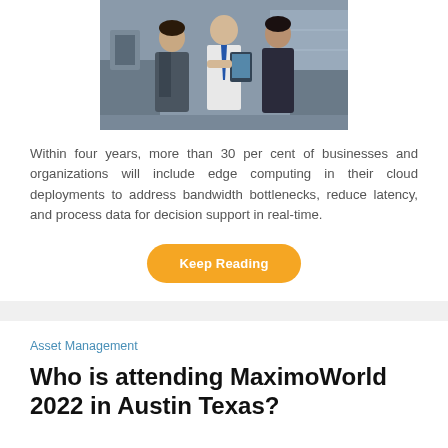[Figure (photo): Group of workers in an industrial/manufacturing setting, one holding a tablet]
Within four years, more than 30 per cent of businesses and organizations will include edge computing in their cloud deployments to address bandwidth bottlenecks, reduce latency, and process data for decision support in real-time.
Keep Reading
Asset Management
Who is attending MaximoWorld 2022 in Austin Texas?